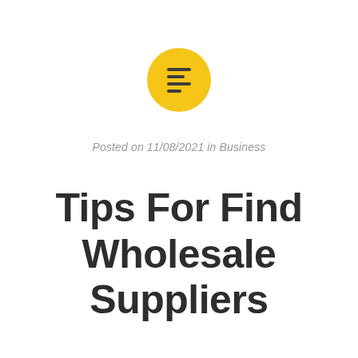[Figure (logo): Yellow circle icon with horizontal lines (document/list icon) in dark color]
Posted on 11/08/2021 in Business
Tips For Find Wholesale Suppliers